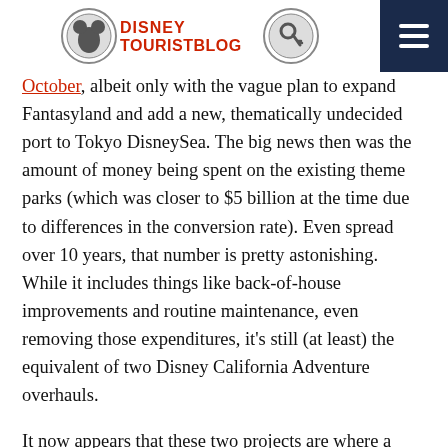DisneyTouristBlog
October, albeit only with the vague plan to expand Fantasyland and add a new, thematically undecided port to Tokyo DisneySea. The big news then was the amount of money being spent on the existing theme parks (which was closer to $5 billion at the time due to differences in the conversion rate). Even spread over 10 years, that number is pretty astonishing. While it includes things like back-of-house improvements and routine maintenance, even removing those expenditures, it’s still (at least) the equivalent of two Disney California Adventure overhauls.
It now appears that these two projects are where a good chunk of that money is being spent, and a post-fiscal year 2017 completion date means an aggressive construction timeline given the scale of the projects and the earthquake code in Japan that makes construction there more challenging. Heck, if this were Walt Disney World and the